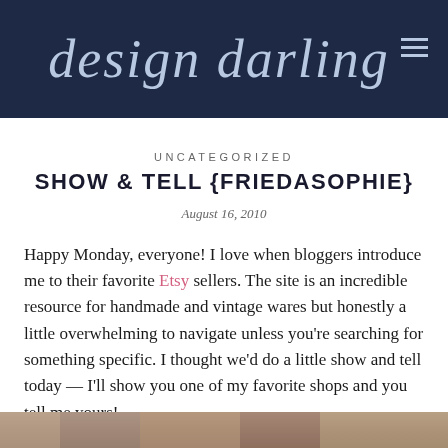design darling
UNCATEGORIZED
SHOW & TELL {FRIEDASOPHIE}
August 16, 2010
Happy Monday, everyone! I love when bloggers introduce me to their favorite Etsy sellers. The site is an incredible resource for handmade and vintage wares but honestly a little overwhelming to navigate unless you're searching for something specific. I thought we'd do a little show and tell today — I'll show you one of my favorite shops and you tell me yours!
[Figure (photo): Partial view of a photo at the bottom of the page, showing warm earth-toned colors suggesting a product or lifestyle image]